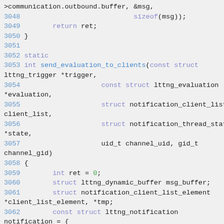Source code listing, lines 3048-3063, C code for send_evaluation_to_clients function